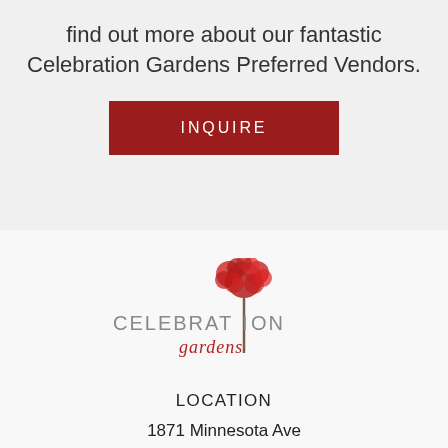find out more about our fantastic Celebration Gardens Preferred Vendors.
[Figure (other): Red button labeled INQUIRE]
[Figure (logo): Celebration Gardens logo with red tree and text]
LOCATION
1871 Minnesota Ave